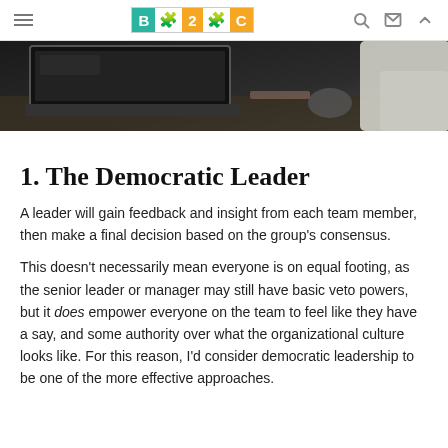B2C [logo navigation bar with hamburger menu, search, mail, and up icons]
[Figure (photo): A person working at a laptop in a dark-toned office environment, viewed from above/side angle.]
1. The Democratic Leader
A leader will gain feedback and insight from each team member, then make a final decision based on the group’s consensus.
This doesn’t necessarily mean everyone is on equal footing, as the senior leader or manager may still have basic veto powers, but it does empower everyone on the team to feel like they have a say, and some authority over what the organizational culture looks like. For this reason, I’d consider democratic leadership to be one of the more effective approaches.